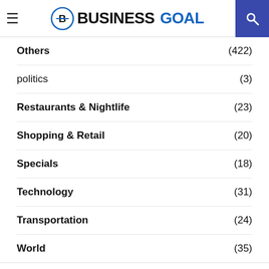BUSINESS GOAL
Others (422)
politics (3)
Restaurants & Nightlife (23)
Shopping & Retail (20)
Specials (18)
Technology (31)
Transportation (24)
World (35)
UPDATES
gul gul gul gul gul gul gul gul gfgx ubsc ubsc ubsc ubsc ubsc ubsc ubsc ubsc ubsc ubsc f gul ubsc ubsc ubsc ubsc ubsc ubsc ubsc ubsc ubsc ubsc ubsc ubsc ubsc ubsc ubsc